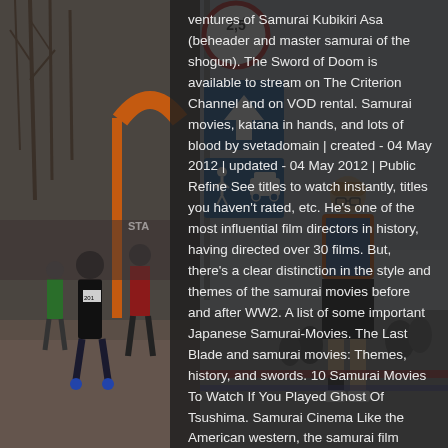[Figure (photo): Left side: outdoor running race scene with participants in athletic wear, orange start arch visible, bare winter trees in background, brick pavement]
ventures of Samurai Kubikiri Asa (beheader and master samurai of the shogun). The Sword of Doom is available to stream on The Criterion Channel and on VOD rental. Samurai movies, katana in hands, and lots of blood by svetadomain | created - 04 May 2012 | updated - 04 May 2012 | Public Refine See titles to watch instantly, titles you haven't rated, etc. He's one of the most influential film directors in history, having directed over 30 films. But, there's a clear distinction in the style and themes of the samurai movies before and after WW2. A list of some important Japanese Samurai-Movies. The Last Blade and samurai movies: Themes, history, and swords. 10 Samurai Movies To Watch If You Played Ghost Of Tsushima. Samurai Cinema Like the American western, the samurai film lends itself to tales of loyalty, revenge, romance, fighting prowess, and the decline of a traditional way of life. It's as thrilling as any shoot 'em up
[Figure (photo): Right side: outdoor running race scene with a man in orange shirt and black shorts running, street signs including a 2.5t weight limit sign and blue directional signs visible]